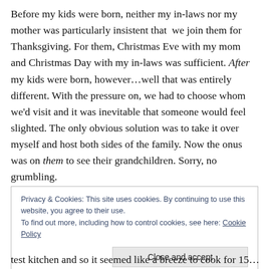Before my kids were born, neither my in-laws nor my mother was particularly insistent that we join them for Thanksgiving. For them, Christmas Eve with my mom and Christmas Day with my in-laws was sufficient. After my kids were born, however…well that was entirely different. With the pressure on, we had to choose whom we'd visit and it was inevitable that someone would feel slighted. The only obvious solution was to take it over myself and host both sides of the family. Now the onus was on them to see their grandchildren. Sorry, no grumbling.
Privacy & Cookies: This site uses cookies. By continuing to use this website, you agree to their use.
To find out more, including how to control cookies, see here: Cookie Policy
test kitchen and so it seemed like a breeze to cook for 15…